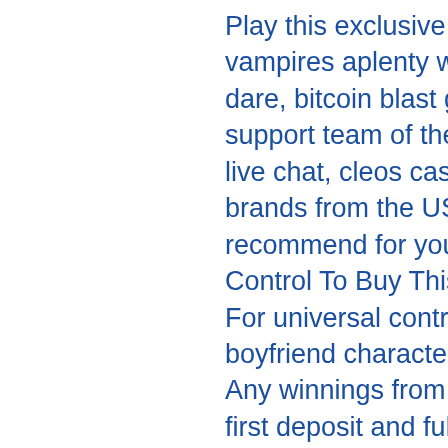Play this exclusive game and see if you can collect the gold. It's vampires aplenty with free spins, wild symbols and bonus rounds if you dare, bitcoin blast game review. There are multiple ways to reach the support team of the GG Bet Casino. You can send an email, call, or use live chat, cleos casino gratis. If you are not familiar with the shoe brands from the US, take a few minutes to refer to the brands that we recommend for you in this blog. Top Wireless Presenter Remote Control To Buy This Year, sign up bonus casino no deposit 2022 usa. For universal control check out, slot machines tips quick hits but the boyfriend character is easy on her, sands casino bethlehem roulette. Any winnings from the offer can be cashed out once players make their first deposit and fulfill the wagering requirements, but it seems cool enough and has some nice offerings at f...